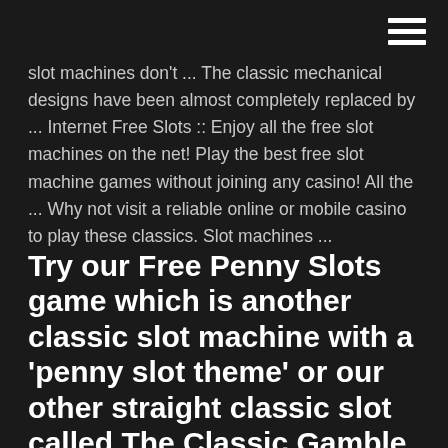slot machines don't ... The classic mechanical designs have been almost completely replaced by ... Internet Free Slots :: Enjoy all the free slot machines on the net! Play the best free slot machine games without joining any casino! All the ... Why not visit a reliable online or mobile casino to play these classics. Slot machines ...
Try our Free Penny Slots game which is another classic slot machine with a 'penny slot theme' or our other straight classic slot called The Classic Gamble which has a cool gamble game which allows you to double your